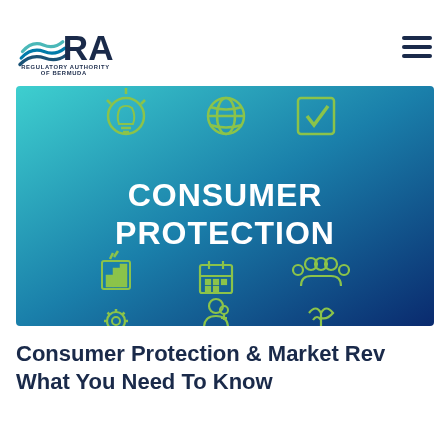[Figure (logo): Regulatory Authority of Bermuda logo with teal wave lines and RA text in navy blue, with tagline REGULATORY AUTHORITY OF BERMUDA below]
[Figure (photo): Consumer protection infographic banner with gradient teal-to-blue background, green outline icons (lightbulb, globe, checkmark, bar chart, calendar, people, gear, person, tree/hand), and white bold text reading CONSUMER PROTECTION in the center]
Consumer Protection & Market Review: What You Need To Know